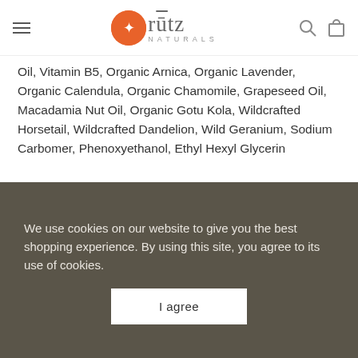[Figure (logo): Rūtz Naturals logo with orange circle icon and stylized text]
Oil, Vitamin B5, Organic Arnica, Organic Lavender, Organic Calendula, Organic Chamomile, Grapeseed Oil, Macadamia Nut Oil, Organic Gotu Kola, Wildcrafted Horsetail, Wildcrafted Dandelion, Wild Geranium, Sodium Carbomer, Phenoxyethanol, Ethyl Hexyl Glycerin
We use cookies on our website to give you the best shopping experience. By using this site, you agree to its use of cookies.
I agree